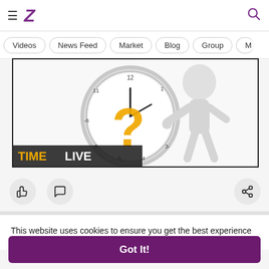Z (logo) navigation header with hamburger menu and search icon
Videos | News Feed | Market | Blog | Group | M
[Figure (illustration): A 3D cartoon figure of a grey person standing behind a large clock with an orange question mark on the clock face. Text overlay reads TIMELIVE in orange and white.]
[Figure (infographic): Action buttons row: thumbs-up (like), comment bubble, and share icon buttons]
This website uses cookies to ensure you get the best experience on our website. Learn More
Got It!